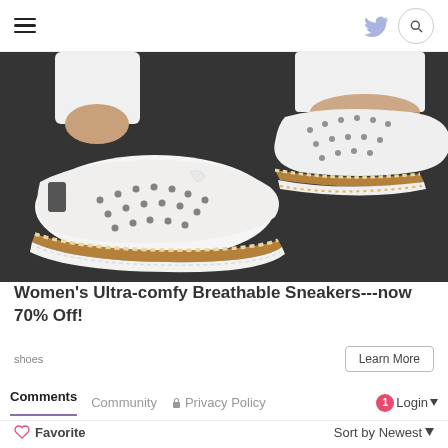Navigation header with hamburger menu, Twitter icon, and search button
[Figure (photo): Close-up photo of women's white breathable perforated slip-on sneakers with cork and rope espadrille sole, worn by a person with white pants on dark pavement]
Women's Ultra-comfy Breathable Sneakers---now 70% Off!
shoes
Learn More
Comments   Community   🔒 Privacy Policy   1   Login ▾
♡ Favorite   Sort by Newest ▾